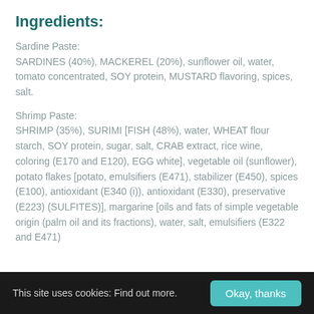Ingredients:
Sardine Paste:
SARDINES (40%), MACKEREL (20%), sunflower oil, water, tomato concentrated, SOY protein, MUSTARD flavoring, spices, salt.

Shrimp Paste:
SHRIMP (35%), SURIMI [FISH (48%), water, WHEAT flour starch, SOY protein, sugar, salt, CRAB extract, rice wine, coloring (E170 and E120), EGG white], vegetable oil (sunflower), potato flakes [potato, emulsifiers (E471), stabilizer (E450), spices (E100), antioxidant (E340 (i)), antioxidant (E330), preservative (E223) (SULFITES)], margarine [oils and fats of simple vegetable origin (palm oil and its fractions), water, salt, emulsifiers (E322 and E471)
This site uses cookies: Find out more.  Okay, thanks